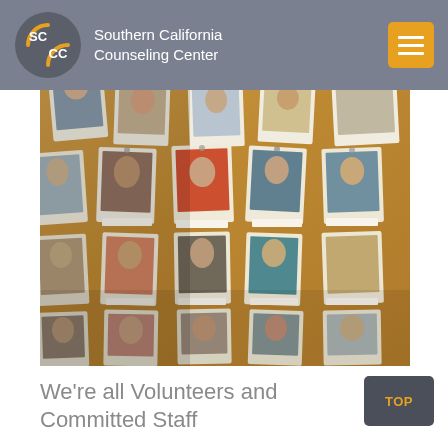Southern California Counseling Center
[Figure (photo): A cork bulletin board covered with rows of portrait photos/headshots of many people, with name labels below each photo. The photos are pinned or clipped to the board in a tilted, perspective view.]
We’re all Volunteers and Committed Staff